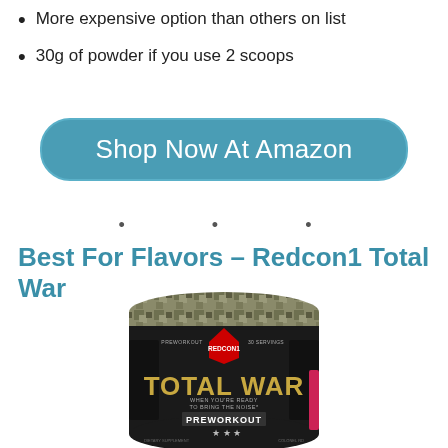More expensive option than others on list
30g of powder if you use 2 scoops
Shop Now At Amazon
• • •
Best For Flavors – Redcon1 Total War
[Figure (photo): Redcon1 Total War Preworkout supplement container with black body, camouflage lid, REDCON1 logo, and gold TOTAL WAR lettering]